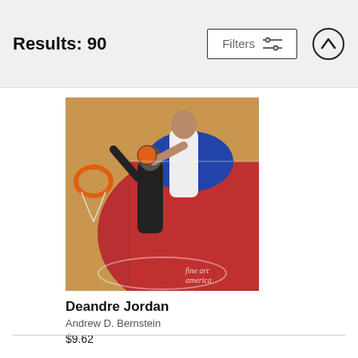Results: 90
[Figure (photo): Basketball action shot showing Deandre Jordan (Clippers, white jersey) blocking a shot by an opponent (black Spurs jersey, #6) near the basket. The image has a Fine Art America watermark. Court shows red paint area, blue circle, wooden floor. Photo taken from above.]
Deandre Jordan
Andrew D. Bernstein
$9.62